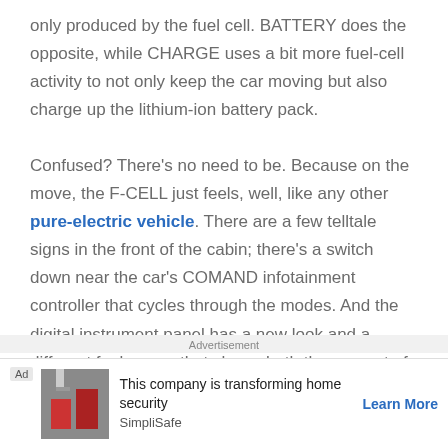only produced by the fuel cell. BATTERY does the opposite, while CHARGE uses a bit more fuel-cell activity to not only keep the car moving but also charge up the lithium-ion battery pack.

Confused? There's no need to be. Because on the move, the F-CELL just feels, well, like any other pure-electric vehicle. There are a few telltale signs in the front of the cabin; there's a switch down near the car's COMAND infotainment controller that cycles through the modes. And the digital instrument panel has a new look and a different fuel gauge that shows both the amount of
Advertisement
Ad | This company is transforming home security | SimpliSafe | Learn More